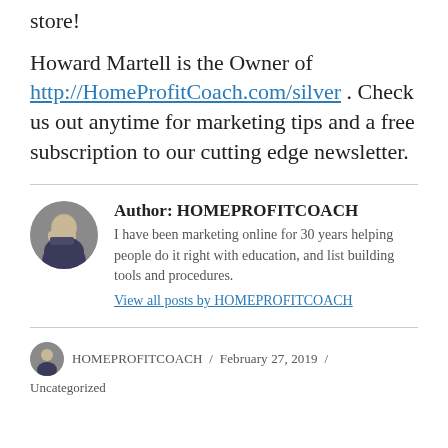store!
Howard Martell is the Owner of http://HomeProfitCoach.com/silver . Check us out anytime for marketing tips and a free subscription to our cutting edge newsletter.
Author: HOMEPROFITCOACH
I have been marketing online for 30 years helping people do it right with education, and list building tools and procedures.
View all posts by HOMEPROFITCOACH
HOMEPROFITCOACH / February 27, 2019 / Uncategorized